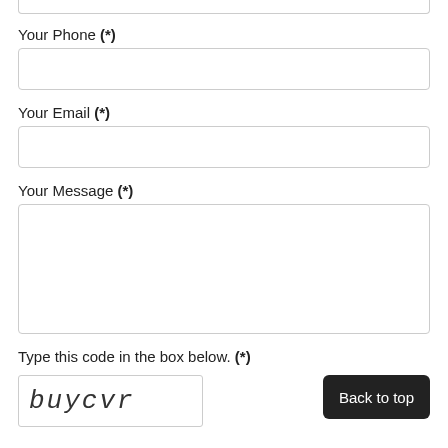Your Phone (*)
Your Email (*)
Your Message (*)
Type this code in the box below. (*)
[Figure (other): CAPTCHA image showing the text 'buycvr' in monospace/distorted font]
Back to top